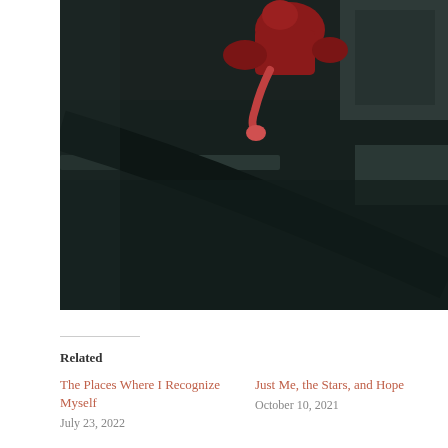[Figure (photo): Dark photograph showing a child in red clothing at the top, with dark shadowy fabric or bedding in the foreground. The scene is dimly lit with very dark tones.]
Related
The Places Where I Recognize Myself
July 23, 2022
Just Me, the Stars, and Hope
October 10, 2021